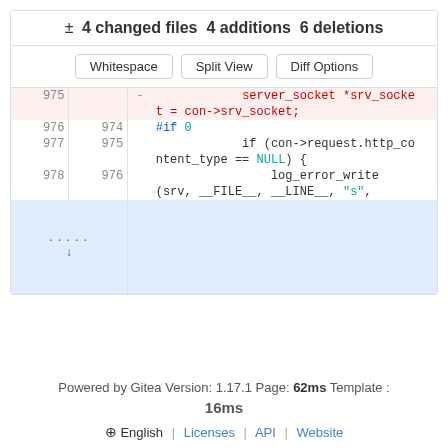± 4 changed files 4 additions 6 deletions
Whitespace | Split View | Diff Options
[Figure (screenshot): Code diff view showing lines 975-978 with deletions and context lines. Line 975 (deleted): server_socket *srv_socket = con->srv_socket; Line 976/974: #if 0; Line 977/975: if (con->request.http_content_type == NULL) {; Line 978/976: log_error_write(srv, __FILE__, __LINE__, "s",]
Powered by Gitea Version: 1.17.1 Page: 62ms Template : 16ms
English | Licenses | API | Website